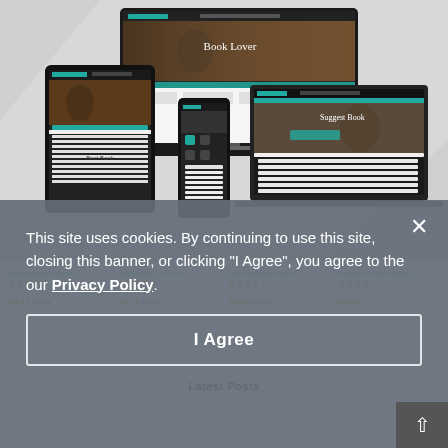[Figure (screenshot): Website mockup showing a book store / reading theme across multiple devices: desktop monitor, tablet, smartphone, and laptop. The monitor displays a 'Book Lover' banner with a woman holding a book. The laptop shows a 'Suggest Book' section. The tablet and phone show mobile app/site views with navigation and book listings.]
[Figure (screenshot): Product listing row showing 4 items with teal/orange colored links, star ratings (3–4 stars), current prices and original crossed-out prices: $18.13 / $23.99, $18.75 / $23.99, $18.48 / $23.99, $19.99]
Latest Posts
This site uses cookies. By continuing to use this site, closing this banner, or clicking "I Agree", you agree to the our Privacy Policy.
I Agree